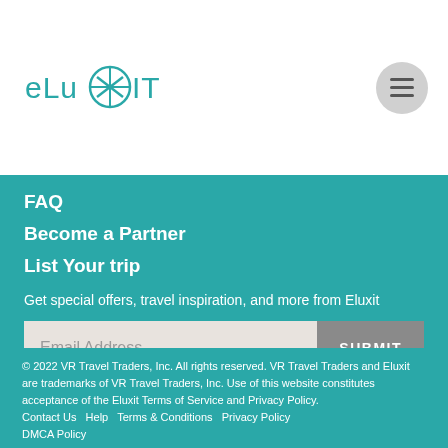[Figure (logo): eLuXit logo with teal compass/target icon and teal text]
FAQ
Become a Partner
List Your trip
Get special offers, travel inspiration, and more from Eluxit
Email Address  SUBMIT
© 2022 VR Travel Traders, Inc. All rights reserved. VR Travel Traders and Eluxit are trademarks of VR Travel Traders, Inc. Use of this website constitutes acceptance of the Eluxit Terms of Service and Privacy Policy. Contact Us  Help  Terms & Conditions  Privacy Policy  DMCA Policy